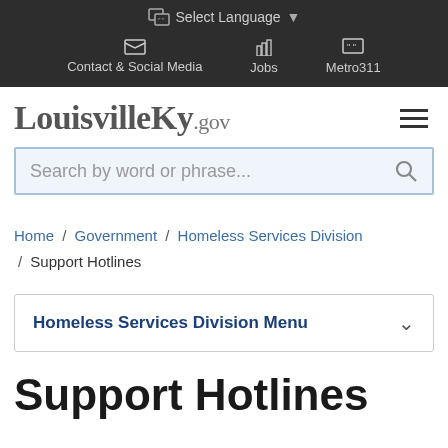Select Language
Contact & Social Media   Jobs   Metro311
[Figure (logo): LouisvilleKy.gov logo with hamburger menu icon]
Search by word or phrase...
Home / Government / Homeless Services Division / Support Hotlines
Homeless Services Division Menu
Support Hotlines